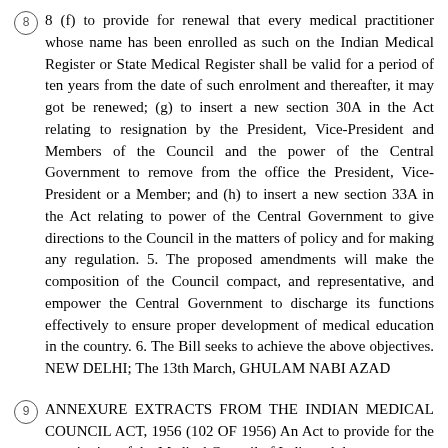8 (f) to provide for renewal that every medical practitioner whose name has been enrolled as such on the Indian Medical Register or State Medical Register shall be valid for a period of ten years from the date of such enrolment and thereafter, it may got be renewed; (g) to insert a new section 30A in the Act relating to resignation by the President, Vice-President and Members of the Council and the power of the Central Government to remove from the office the President, Vice-President or a Member; and (h) to insert a new section 33A in the Act relating to power of the Central Government to give directions to the Council in the matters of policy and for making any regulation. 5. The proposed amendments will make the composition of the Council compact, and representative, and empower the Central Government to discharge its functions effectively to ensure proper development of medical education in the country. 6. The Bill seeks to achieve the above objectives. NEW DELHI; The 13th March, GHULAM NABI AZAD
9 ANNEXURE EXTRACTS FROM THE INDIAN MEDICAL COUNCIL ACT, 1956 (102 OF 1956) An Act to provide for the constitution of the Medical Council of India and the